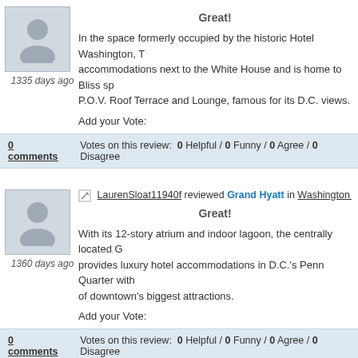[Figure (illustration): User avatar placeholder - grey silhouette of a person]
1335 days ago
In the space formerly occupied by the historic Hotel Washington, T... accommodations next to the White House and is home to Bliss sp... P.O.V. Roof Terrace and Lounge, famous for its D.C. views.
Add your Vote:
0 comments   Votes on this review:  0 Helpful / 0 Funny / 0 Agree / 0 Disagree
[Figure (illustration): User avatar placeholder - grey silhouette of a person]
LaurenSloat11940f reviewed Grand Hyatt in Washington Ho...
1360 days ago
Great!
With its 12-story atrium and indoor lagoon, the centrally located G... provides luxury hotel accommodations in D.C.'s Penn Quarter with... of downtown's biggest attractions.
Add your Vote:
0 comments   Votes on this review:  0 Helpful / 0 Funny / 0 Agree / 0 Disagree
[Figure (illustration): User avatar placeholder - grey silhouette of a person]
LaurenSloat1cb9b3 reviewed Capitol Skyline Hotel in Wash... Hotels: